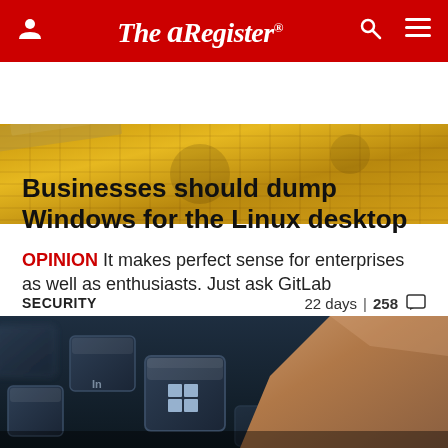The Register
[Figure (photo): Close-up photo of a yellow/gold textured surface, appears to be circuit board or mesh material]
Businesses should dump Windows for the Linux desktop
OPINION It makes perfect sense for enterprises as well as enthusiasts. Just ask GitLab
SECURITY   22 days | 258 comments
[Figure (photo): Close-up photo of a keyboard with Windows key being pressed by a finger]